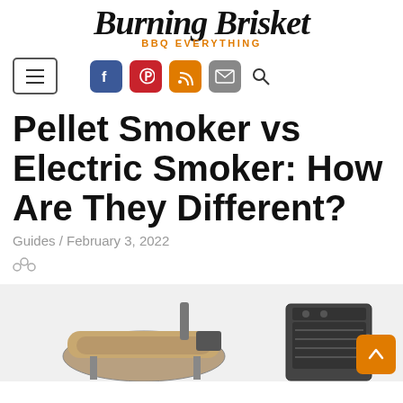Burning Brisket BBQ EVERYTHING
[Figure (logo): Burning Brisket website logo with cursive black text and orange 'BBQ EVERYTHING' subtitle, navigation bar with hamburger menu, Facebook, Pinterest, RSS, email, and search icons]
Pellet Smoker vs Electric Smoker: How Are They Different?
Guides / February 3, 2022
[Figure (photo): Photo showing a pellet smoker on the left and an electric smoker on the right side by side]